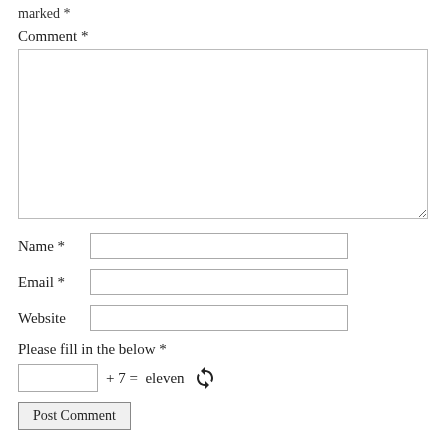marked *
Comment *
Name *
Email *
Website
Please fill in the below *
+ 7 = eleven
Post Comment
Most recently on IHP